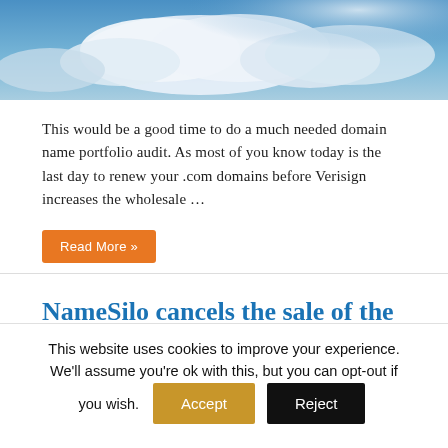[Figure (photo): Blue sky with white clouds photograph]
This would be a good time to do a much needed domain name portfolio audit. As most of you know today is the last day to renew your .com domains before Verisign increases the wholesale …
Read More »
NameSilo cancels the sale of the company
August 31, 2021   Domain Name News   2
[Figure (photo): Partial blue image bar]
This website uses cookies to improve your experience. We'll assume you're ok with this, but you can opt-out if you wish.
Accept
Reject